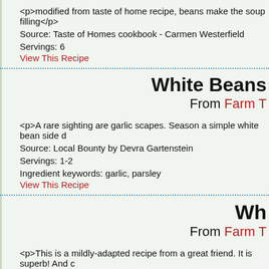<p>modified from taste of home recipe, beans make the soup filling</p>
Source: Taste of Homes cookbook - Carmen Westerfield
Servings: 6
View This Recipe
White Beans
From Farm T
<p>A rare sighting are garlic scapes. Season a simple white bean side d
Source: Local Bounty by Devra Gartenstein
Servings: 1-2
Ingredient keywords: garlic, parsley
View This Recipe
Wh
From Farm T
<p>This is a mildly-adapted recipe from a great friend. It is superb! And c
Source: Suzanne S-C
Servings: 2-4